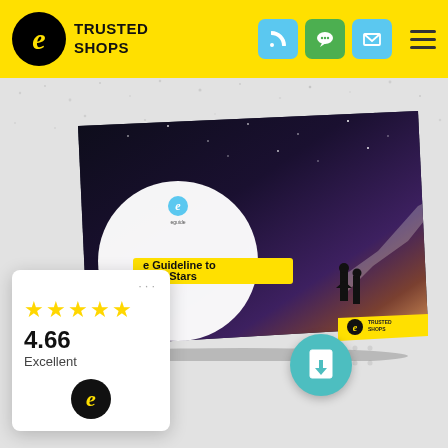[Figure (logo): Trusted Shops logo with black circle containing yellow italic e, bold text TRUSTED SHOPS]
[Figure (infographic): Trusted Shops website screenshot with yellow header, navigation icons (phone, chat, mail), hamburger menu, brochure mockup showing 'e Guideline to SEO Stars', rating card with 4 stars, 4.66, Excellent, Trusted Shops badge, and download button]
TRUSTED SHOPS
[Figure (illustration): Brochure/book mockup showing a night sky photo with a person shining a flashlight, white circular area with Trusted Shops logo, yellow text banner reading 'e Guideline to SEO Stars', Trusted Shops branding on cover]
4.66
Excellent
[Figure (photo): Rating widget card showing 4 yellow stars, rating 4.66, Excellent label, and Trusted Shops circular badge logo]